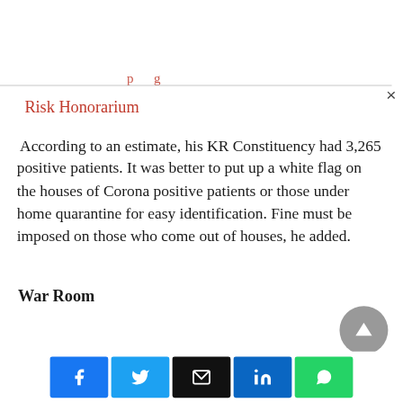Risk Honorarium
According to an estimate, his KR Constituency had 3,265 positive patients. It was better to put up a white flag on the houses of Corona positive patients or those under home quarantine for easy identification. Fine must be imposed on those who come out of houses, he added.
War Room